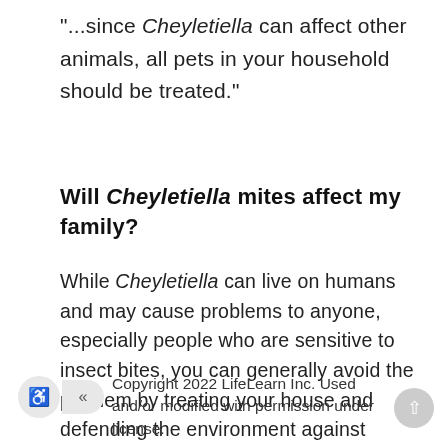"...since Cheyletiella can affect other animals, all pets in your household should be treated."
Will Cheyletiella mites affect my family?
While Cheyletiella can live on humans and may cause problems to anyone, especially people who are sensitive to insect bites, you can generally avoid the problem by treating your house and defending the environment against these mites.
Copyright 2022 LifeLearn Inc. Used and/or modified with permission under license.